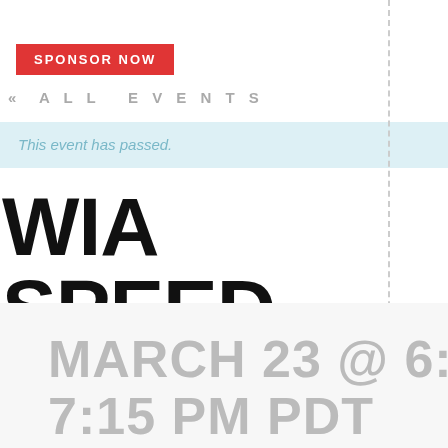SPONSOR NOW
« ALL EVENTS
This event has passed.
WIA SPEED MENTORING – A UP
MARCH 23 @ 6:00 PM 7:15 PM PDT